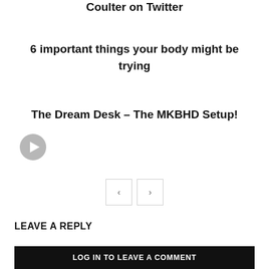Coulter on Twitter
6 important things your body might be trying
The Dream Desk – The MKBHD Setup!
[Figure (other): Play button icon (circular grey play button)]
[Figure (other): Pagination navigation with left arrow button and right arrow button]
LEAVE A REPLY
LOG IN TO LEAVE A COMMENT